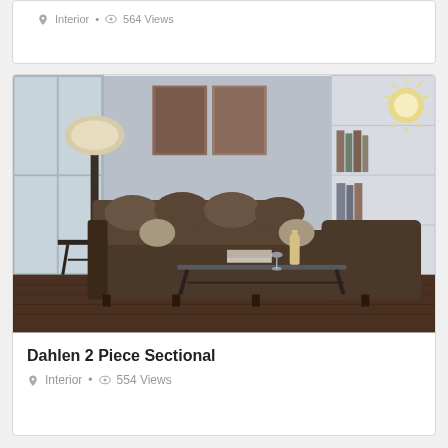Interior • 564 Views
[Figure (photo): Living room scene showing a large dark brown fabric sectional sofa with pillows, a glass-top coffee table with books and a wine bottle, a tall table lamp, a bookshelf, and decorative wall art. The room has light grey walls and hardwood floors.]
Dahlen 2 Piece Sectional
Interior • 554 Views